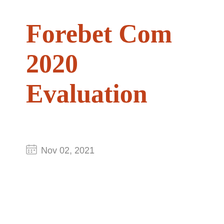Forebet Com 2020 Evaluation
Nov 02, 2021